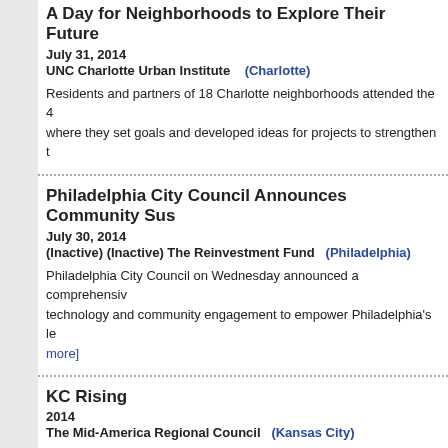A Day for Neighborhoods to Explore Their Future
July 31, 2014
UNC Charlotte Urban Institute    (Charlotte)
Residents and partners of 18 Charlotte neighborhoods attended the 4... where they set goals and developed ideas for projects to strengthen t...
Philadelphia City Council Announces Community Sus...
July 30, 2014
(Inactive) (Inactive) The Reinvestment Fund    (Philadelphia)
Philadelphia City Council on Wednesday announced a comprehensive... technology and community engagement to empower Philadelphia's le... [read more]
KC Rising
2014
The Mid-America Regional Council    (Kansas City)
Kansas City NNIP Partner Mid-America Regional Council (MARC) has... to coordinate a 20+ year plan for economic growth. KC... [read more]